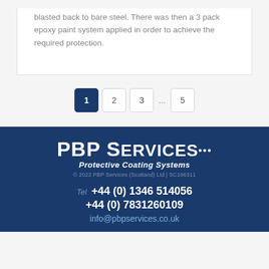blasted back to bare steel. There was then a 3 pack epoxy paint system applied in order to achieve the required protection.
Pagination: 1 2 3 ... 5
[Figure (logo): PBP Services Protective Coating Systems logo in white on dark blue background]
© 2022 PBP Services (Scotland) Ltd | SC166311
Tel +44 (0) 1346 514056
+44 (0) 7831260109
info@pbpservices.co.uk